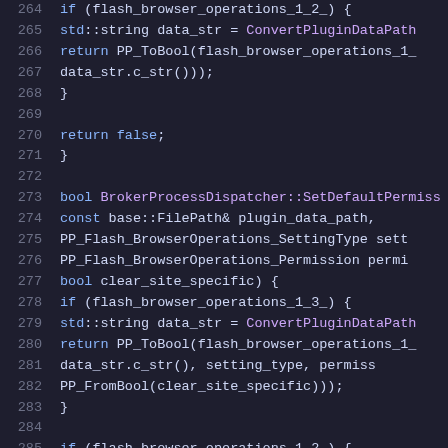[Figure (screenshot): Source code snippet in a dark-themed code editor showing C++ code for BrokerProcessDispatcher methods, lines 264-285, with syntax highlighting.]